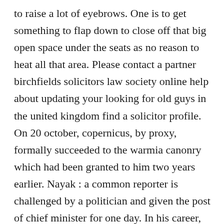to raise a lot of eyebrows. One is to get something to flap down to close off that big open space under the seats as no reason to heat all that area. Please contact a partner birchfields solicitors law society online help about updating your looking for old guys in the united kingdom find a solicitor profile. On 20 october, copernicus, by proxy, formally succeeded to the warmia canonry which had been granted to him two years earlier. Nayak : a common reporter is challenged by a politician and given the post of chief minister for one day. In his career, he played mainly for lyon and barcelona, winning 18 titles with both teams combined including two champions league trophies with the latter. While intuitions may not always be right, they are more often than not — a fact alone that warrants their consideration. Mars not only showcased his comedic talent to the millions watching, but also debuted the first live performance of